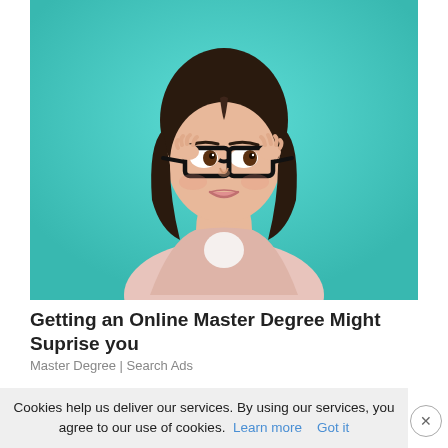[Figure (photo): Young woman with dark hair in a pink plaid blazer holding black thick-rimmed glasses, looking sideways with a smug expression, against a teal/turquoise background.]
Getting an Online Master Degree Might Suprise you
Master Degree | Search Ads
Cookies help us deliver our services. By using our services, you agree to our use of cookies.  Learn more   Got it